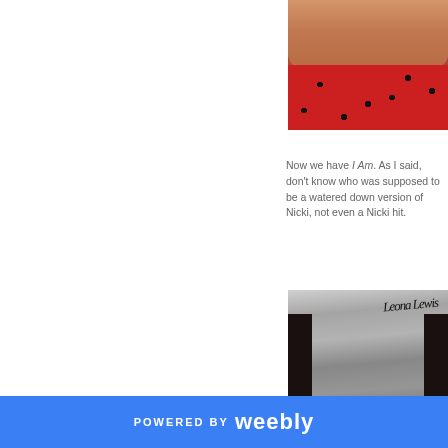[Figure (photo): Photo of a woman in a red leopard print dress with dark hair, cropped to show face/upper body, positioned at top right]
Now we have I Am. As I said, don't know who was supposed to be a watered down version of Nicki, not even a Nicki hit.
[Figure (photo): Black and white album cover image of Leona Lewis with her signature in script at top, dark hair, facing camera]
POWERED BY weebly